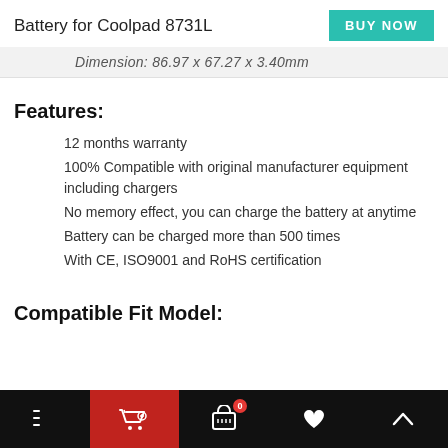Battery for Coolpad 8731L
Dimension: 86.97 x 67.27 x 3.40mm
Features:
12 months warranty
100% Compatible with original manufacturer equipment including chargers
No memory effect, you can charge the battery at anytime
Battery can be charged more than 500 times
With CE, ISO9001 and RoHS certification
Compatible Fit Model: